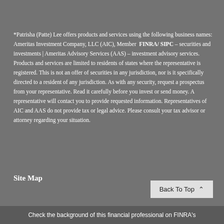*Patrisha (Patte) Lee offers products and services using the following business names: Ameritas Investment Company, LLC (AIC), Member  FINRA/ SIPC – securities and investments | Ameritas Advisory Services (AAS) – investment advisory services. Products and services are limited to residents of states where the representative is registered. This is not an offer of securities in any jurisdiction, nor is it specifically directed to a resident of any jurisdiction. As with any security, request a prospectus from your representative. Read it carefully before you invest or send money. A representative will contact you to provide requested information. Representatives of AIC and AAS do not provide tax or legal advice. Please consult your tax advisor or attorney regarding your situation.
Site Map
Back To Top
Check the background of this financial professional on FINRA's